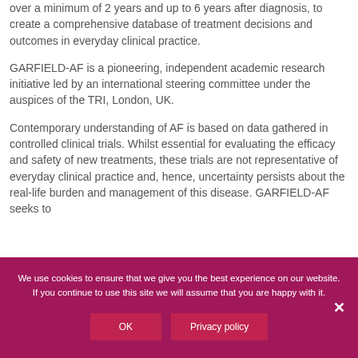over a minimum of 2 years and up to 6 years after diagnosis, to create a comprehensive database of treatment decisions and outcomes in everyday clinical practice.
GARFIELD-AF is a pioneering, independent academic research initiative led by an international steering committee under the auspices of the TRI, London, UK.
Contemporary understanding of AF is based on data gathered in controlled clinical trials. Whilst essential for evaluating the efficacy and safety of new treatments, these trials are not representative of everyday clinical practice and, hence, uncertainty persists about the real-life burden and management of this disease. GARFIELD-AF seeks to
We use cookies to ensure that we give you the best experience on our website. If you continue to use this site we will assume that you are happy with it.